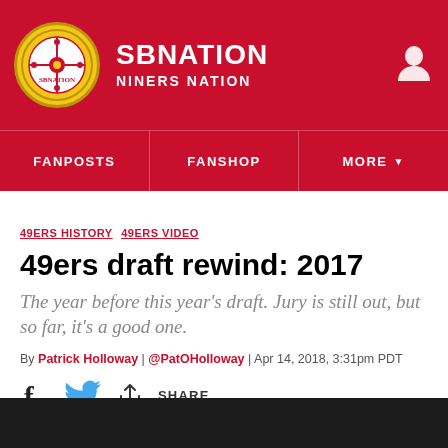SB NATION / NINERS NATION
FANPOSTS  FANSHOP  MORE
49ERS HISTORY  49ERS VIDEO
49ers draft rewind: 2017
The year before this year's draft. Jury is still out, but so far, it's a good one.
By Patrick Holloway | @PatOHolloway | Apr 14, 2018, 3:31pm PDT
[Figure (infographic): Social share bar with Facebook icon, Twitter bird icon, and share icon with SHARE text]
[Figure (photo): Dark/black image area at bottom of page]